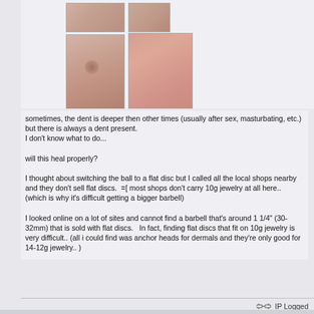[Figure (photo): Four close-up photos of skin showing a dent/piercing area. Top row: two smaller photos. Bottom section: two larger photos showing reddened skin with a dent or depression.]
sometimes, the dent is deeper then other times (usually after sex, masturbating, etc.) but there is always a dent present.
I don't know what to do...

will this heal properly?

I thought about switching the ball to a flat disc but I called all the local shops nearby and they don't sell flat discs.  =[ most shops don't carry 10g jewelry at all here.. (which is why it's difficult getting a bigger barbell)

I looked online on a lot of sites and cannot find a barbell that's around 1 1/4" (30-32mm) that is sold with flat discs.   In fact, finding flat discs that fit on 10g jewelry is very difficult.. (all i could find was anchor heads for dermals and they're only good for 14-12g jewelry.. )
IP Logged